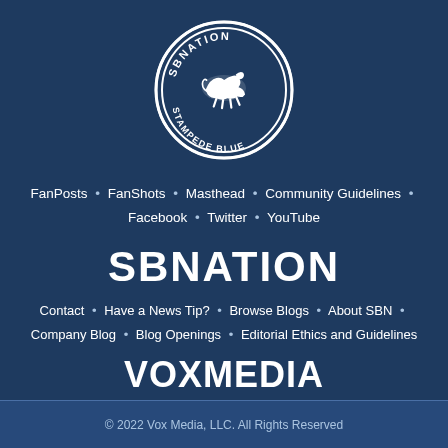[Figure (logo): SBNation Stampede Blue circular logo with running horse]
FanPosts • FanShots • Masthead • Community Guidelines • Facebook • Twitter • YouTube
SBNATION
Contact • Have a News Tip? • Browse Blogs • About SBN • Company Blog • Blog Openings • Editorial Ethics and Guidelines
VOXMEDIA
Terms of Use • Privacy Notice • Cookie Policy • Do Not Sell My Personal Info • Licensing FAQ • Accessibility • Platform Status • Advertise with us • Jobs @ Vox Media
© 2022 Vox Media, LLC. All Rights Reserved